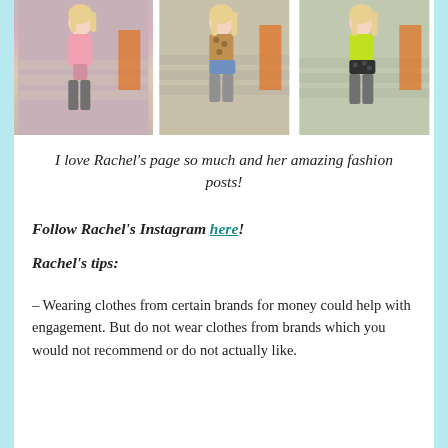[Figure (photo): Three side-by-side photos of a blonde woman posing on stairs in different outfits: pink top with pink skirt, leopard print top with denim shorts, and neon green top with black patterned shorts.]
I love Rachel's page so much and her amazing fashion posts!
Follow Rachel's Instagram here!
Rachel's tips:
– Wearing clothes from certain brands for money could help with engagement. But do not wear clothes from brands which you would not recommend or do not actually like.